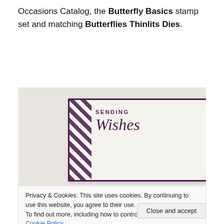Occasions Catalog, the Butterfly Basics stamp set and matching Butterflies Thinlits Dies.
[Figure (photo): A greeting card with a dark purple border and diagonal stripe on the left, featuring 'SENDING Wishes' text in purple on a cream background, photographed against a light grey background.]
Privacy & Cookies: This site uses cookies. By continuing to use this website, you agree to their use.
To find out more, including how to control cookies, see here: Cookie Policy
Close and accept